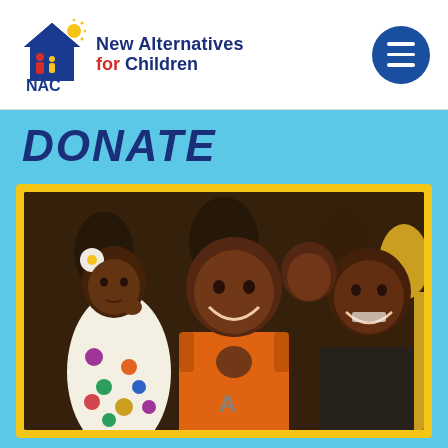[Figure (logo): New Alternatives for Children (NAC) logo with house/family icon and text]
[Figure (other): Hamburger menu button — dark blue circle with three white horizontal bars]
DONATE
[Figure (photo): Group of smiling children at an event. A girl in a white polka-dot dress stands to the left, a boy in an orange Avengers shirt gives a thumbs-up in the center, and another boy in a black shirt smiles to the right. More children and adults are visible in the background. The photo has a yellow border frame.]